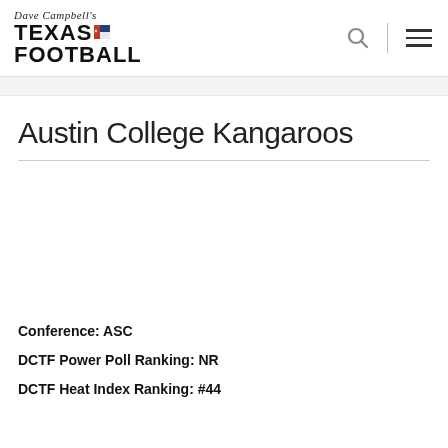Dave Campbell's Texas Football
Austin College Kangaroos
Conference: ASC
DCTF Power Poll Ranking: NR
DCTF Heat Index Ranking: #44